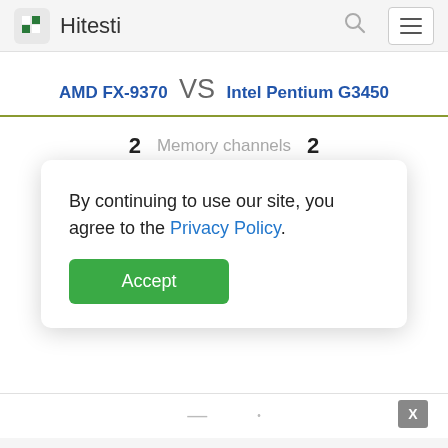Hitesti
AMD FX-9370 VS Intel Pentium G3450
2  Memory channels  2
By continuing to use our site, you agree to the Privacy Policy.
Accept
Data e